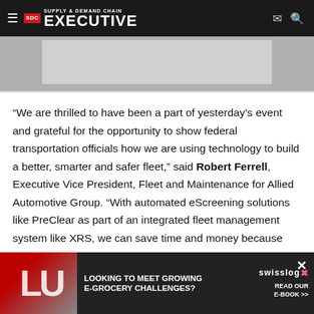Supply & Demand Chain Executive
[Figure (photo): Gray image placeholder area representing a photograph or banner image]
“We are thrilled to have been a part of yesterday’s event and grateful for the opportunity to show federal transportation officials how we are using technology to build a better, smarter and safer fleet,” said Robert Ferrell, Executive Vice President, Fleet and Maintenance for Allied Automotive Group. “With automated eScreening solutions like PreClear as part of an integrated fleet management system like XRS, we can save time and money because mobile solutions do not require significant infrastructure investment. It’s the wave of the future and a winning formula for us fro…
[Figure (infographic): Advertisement banner: LOOKING TO MEET GROWING E-GROCERY CHALLENGES? with Swisslog logo and READ OUR E-BOOK link, with car/grocery imagery]